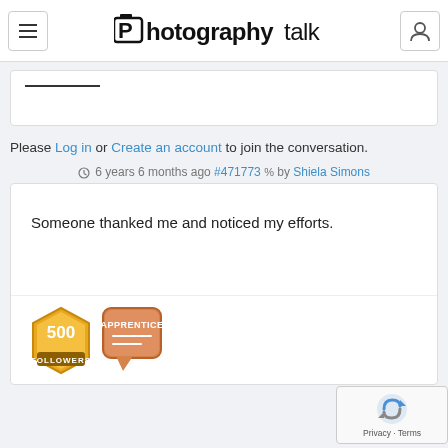photographytalk
Please Log in or Create an account to join the conversation.
6 years 6 months ago #471773 by Shiela Simons
Someone thanked me and noticed my efforts.
[Figure (illustration): 500 Followers badge and Apprentice badge icons]
[Figure (other): reCAPTCHA privacy widget with Privacy - Terms text]